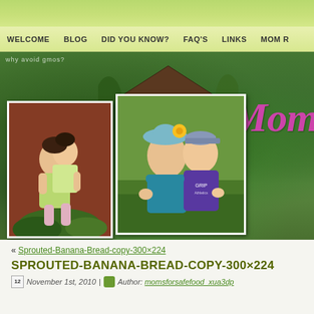[Figure (screenshot): Website navigation bar with green gradient background, showing menu items: WELCOME, BLOG, DID YOU KNOW?, FAQ'S, LINKS, MOM R...]
[Figure (photo): Website hero banner with garden background, two embedded photos of children, and 'Mom' text in pink italic font]
« Sprouted-Banana-Bread-copy-300×224
SPROUTED-BANANA-BREAD-COPY-300×224
November 1st, 2010 | Author: momsforsafefood_xua3dp